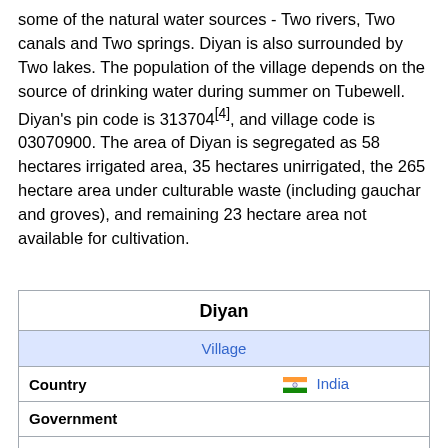some of the natural water sources - Two rivers, Two canals and Two springs. Diyan is also surrounded by Two lakes. The population of the village depends on the source of drinking water during summer on Tubewell. Diyan's pin code is 313704[4], and village code is 03070900. The area of Diyan is segregated as 58 hectares irrigated area, 35 hectares unirrigated, the 265 hectare area under culturable waste (including gauchar and groves), and remaining 23 hectare area not available for cultivation.
| Diyan |  |
| --- | --- |
|  | Village |
| Country | India |
| Government |  |
| • Type | Sarpanch |